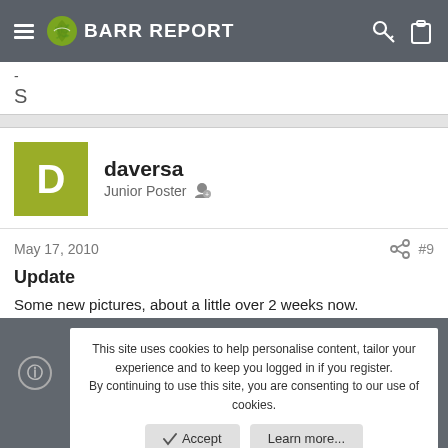BARR REPORT
-
S
daversa
Junior Poster
May 17, 2010  #9
Update

Some new pictures, about a little over 2 weeks now.
This site uses cookies to help personalise content, tailor your experience and to keep you logged in if you register.
By continuing to use this site, you are consenting to our use of cookies.